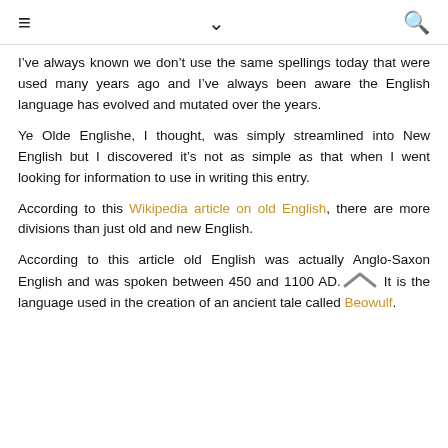≡  ∨  🔍
I've always known we don't use the same spellings today that were used many years ago and I've always been aware the English language has evolved and mutated over the years.
Ye Olde Englishe, I thought, was simply streamlined into New English but I discovered it's not as simple as that when I went looking for information to use in writing this entry.
According to this Wikipedia article on old English, there are more divisions than just old and new English.
According to this article old English was actually Anglo-Saxon English and was spoken between 450 and 1100 AD. It is the language used in the creation of an ancient tale called Beowulf.